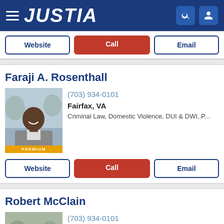JUSTIA
Website | Call | Email
Faraji A. Rosenthall
(703) 934-0101
Fairfax, VA
Criminal Law, Domestic Violence, DUI & DWI, P...
Website | Call | Email
Robert McClain
(703) 934-0101
Fairfax, VA
Personal Injury, Criminal Law, DUI & DWI, Dom...